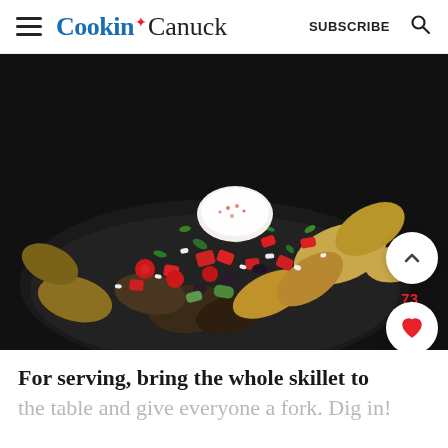Cookin Canuck  SUBSCRIBE
[Figure (photo): Overhead close-up of a cast iron skillet filled with roasted fingerling potatoes topped with crumbled feta cheese, chopped red peppers, cherry tomatoes, diced cucumber, olives, fresh herbs, and a dollop of white creamy sauce dusted with red spice.]
For serving, bring the whole skillet to the table and give everyone a fork. Dig in!